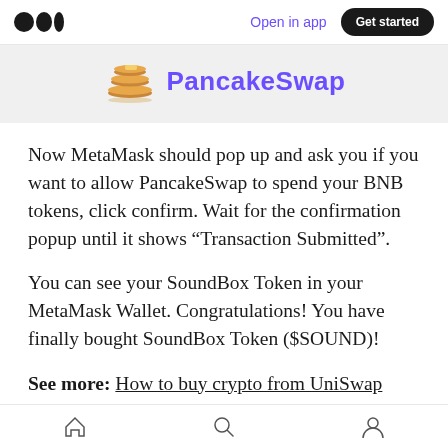Open in app | Get started
[Figure (logo): PancakeSwap logo with pancake stack icon and purple bold text 'PancakeSwap' on a light grey banner background]
Now MetaMask should pop up and ask you if you want to allow PancakeSwap to spend your BNB tokens, click confirm. Wait for the confirmation popup until it shows “Transaction Submitted”.
You can see your SoundBox Token in your MetaMask Wallet. Congratulations! You have finally bought SoundBox Token ($SOUND)!
See more: How to buy crypto from UniSwap with
Home | Search | Profile